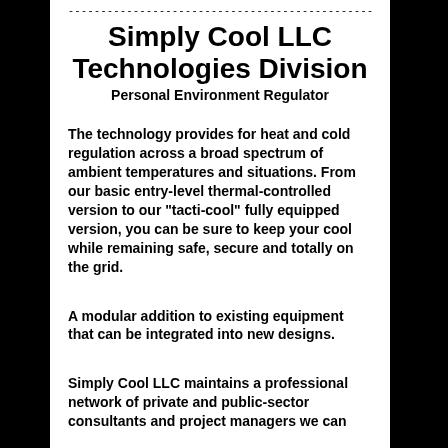Simply Cool LLC Technologies Division
Personal Environment Regulator
The technology provides for heat and cold regulation across a broad spectrum of ambient temperatures and situations. From our basic entry-level thermal-controlled version to our "tacti-cool" fully equipped version, you can be sure to keep your cool while remaining safe, secure and totally on the grid.
A modular addition to existing equipment that can be integrated into new designs.
Simply Cool LLC maintains a professional network of private and public-sector consultants and project managers we can